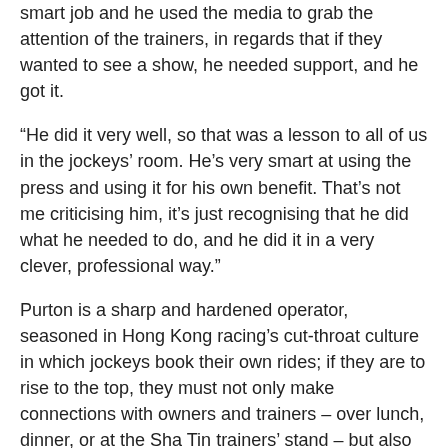smart job and he used the media to grab the attention of the trainers, in regards that if they wanted to see a show, he needed support, and he got it.
“He did it very well, so that was a lesson to all of us in the jockeys’ room. He’s very smart at using the press and using it for his own benefit. That’s not me criticising him, it’s just recognising that he did what he needed to do, and he did it in a very clever, professional way.”
Purton is a sharp and hardened operator, seasoned in Hong Kong racing’s cut-throat culture in which jockeys book their own rides; if they are to rise to the top, they must not only make connections with owners and trainers – over lunch, dinner, or at the Sha Tin trainers’ stand – but also actively poach rides from fellow jockeys. The off-track process is a complex juggling act, in parts ‘political’ power play, self-promotion, compromise and hard-nosed soliciting, all to get on the horses that matter.
Even with Moreira’s challenge all but buried, Purton kept up the